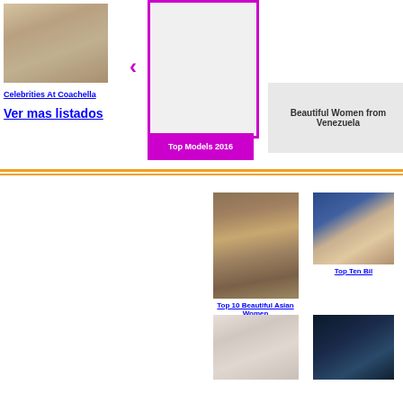[Figure (photo): Celebrity woman at Coachella wearing white outfit]
Celebrities At Coachella
Ver mas listados
[Figure (photo): Top Models 2016 - model photo with pink border and label]
Beautiful Women from Venezuela
[Figure (photo): Asian woman portrait - Top 10 Beautiful Asian Women]
Top 10 Beautiful Asian Women
[Figure (photo): Man at World Economic Forum - Top Ten Billionaires]
Top Ten Bil
[Figure (photo): Woman doing yoga pose]
[Figure (photo): Avatar movie scene]